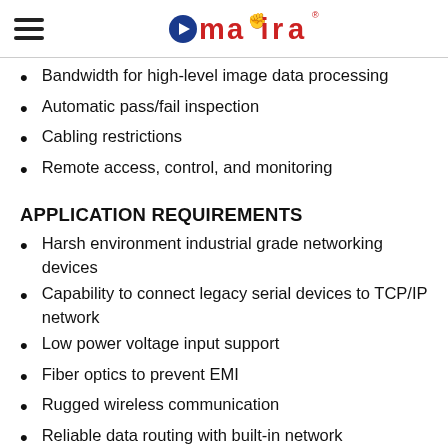amaira logo with hamburger menu
Bandwidth for high-level image data processing
Automatic pass/fail inspection
Cabling restrictions
Remote access, control, and monitoring
APPLICATION REQUIREMENTS
Harsh environment industrial grade networking devices
Capability to connect legacy serial devices to TCP/IP network
Low power voltage input support
Fiber optics to prevent EMI
Rugged wireless communication
Reliable data routing with built-in network management software